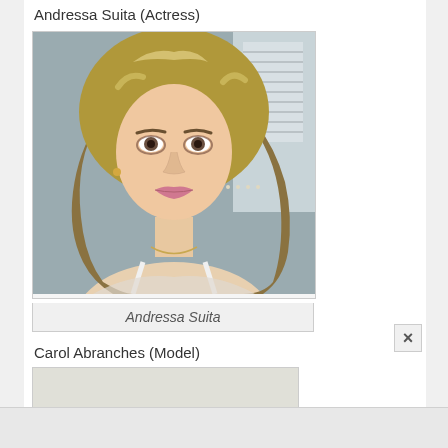Andressa Suita (Actress)
[Figure (photo): Portrait photo of Andressa Suita, a blonde woman with wavy hair and smoky eye makeup, looking at the camera, wearing a white top with thin straps, with a necklace visible]
Andressa Suita
Carol Abranches (Model)
[Figure (photo): Partially visible photo of Carol Abranches, cropped at bottom of page]